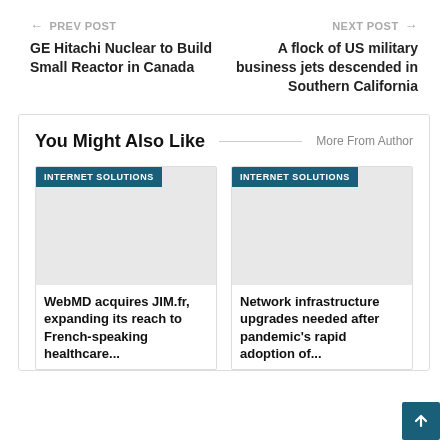← PREV POST
NEXT POST →
GE Hitachi Nuclear to Build Small Reactor in Canada
A flock of US military business jets descended in Southern California
You Might Also Like
More From Author
INTERNET SOLUTIONS
WebMD acquires JIM.fr, expanding its reach to French-speaking healthcare...
INTERNET SOLUTIONS
Network infrastructure upgrades needed after pandemic's rapid adoption of...